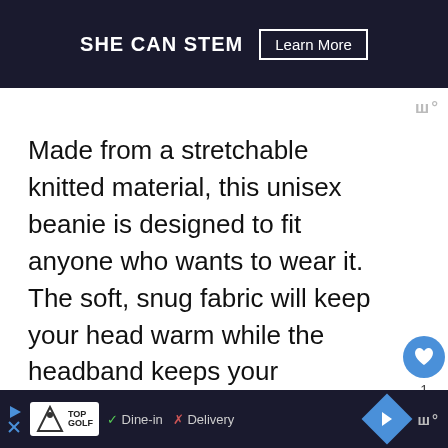[Figure (screenshot): Dark banner advertisement for SHE CAN STEM with Learn More button]
Made from a stretchable knitted material, this unisex beanie is designed to fit anyone who wants to wear it. The soft, snug fabric will keep your head warm while the headband keeps your headphones close to your ears.
Using the latest V4.2 Bluetooth technology, you can sync to any enabled device in seconds to listen to your favorite tunes, or
[Figure (screenshot): Bottom advertisement bar with Topgolf logo, Dine-in and Delivery options, navigation arrow button, and Monocle logo]